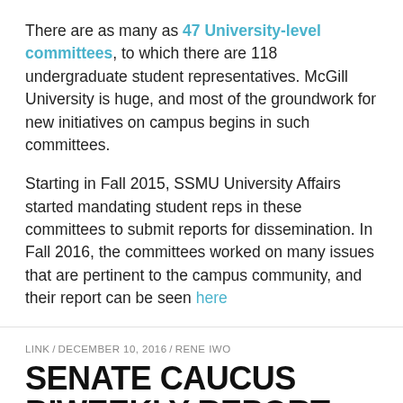There are as many as 47 University-level committees, to which there are 118 undergraduate student representatives. McGill University is huge, and most of the groundwork for new initiatives on campus begins in such committees.
Starting in Fall 2015, SSMU University Affairs started mandating student reps in these committees to submit reports for dissemination. In Fall 2016, the committees worked on many issues that are pertinent to the campus community, and their report can be seen here
LINK / DECEMBER 10, 2016 / RENE IWO
SENATE CAUCUS BIWEEKLY REPORT FOR NOV 21-DEC 5, 2016
[Figure (other): Document/report icon with link text 'report']